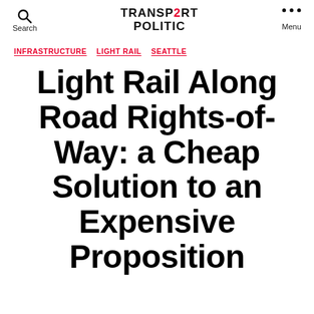Search | TRANSPORT POLITIC | Menu
INFRASTRUCTURE  LIGHT RAIL  SEATTLE
Light Rail Along Road Rights-of-Way: a Cheap Solution to an Expensive Proposition